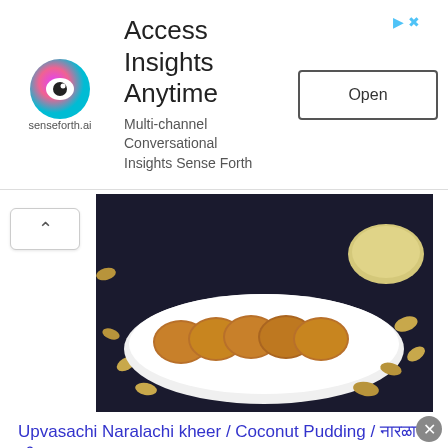[Figure (screenshot): Advertisement banner for senseforth.ai with logo, text 'Access Insights Anytime', 'Multi-channel Conversational Insights Sense Forth', and an 'Open' button]
[Figure (photo): Photo of Indian snack patties on a white serving plate with peanuts scattered around on a dark background, with a small bowl of chutney]
Upvasachi Naralachi kheer / Coconut Pudding / नारळाची खीर
[Figure (photo): Photo of coconut pudding (kheer) in a bowl garnished with saffron strands, with another bowl visible beside it]